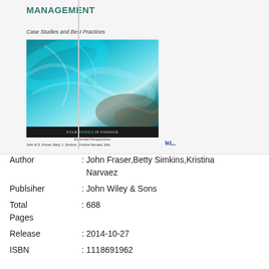[Figure (illustration): Book cover of a risk management textbook titled 'MANAGEMENT: Case Studies and Best Practices' with a teal/blue abstract cover image, Wiley Finance series branding, authors John R.S. Fraser, Betty J. Simkins, Kristina Narvaez.]
Author : John Fraser,Betty Simkins,Kristina Narvaez
Publsiher : John Wiley & Sons
Total Pages : 688
Release : 2014-10-27
ISBN : 1118691962